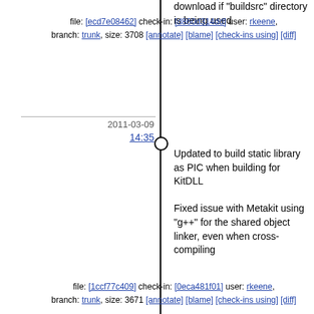download if "buildsrc" directory is being used
file: [ecd7e08462] check-in: [d860d314dd] user: rkeene, branch: trunk, size: 3708 [annotate] [blame] [check-ins using] [diff]
2011-03-09
14:35
Updated to build static library as PIC when building for KitDLL

Fixed issue with Metakit using "g++" for the shared object linker, even when cross-compiling
file: [1ccf77c409] check-in: [0eca481f01] user: rkeene, branch: trunk, size: 3671 [annotate] [blame] [check-ins using] [diff]
2010-10-06
07:06
Updated to support building Mk4tcl dynamically when building KitDLL, but falling back to building statically.
file: [9c93a36278] check-in: [76ec61a413] user: rkeene, branch: trunk, size: 3400 [annotate] [blame] [check-ins using] [diff]
2010-10-03
21:02
Updated Mk4tcl to default to being built as a